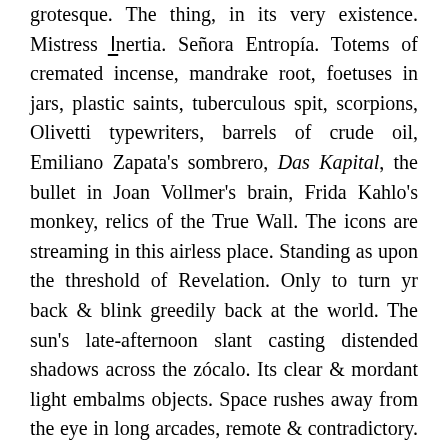grotesque. The thing, in its very existence. Mistress Inertia. Señora Entropía. Totems of cremated incense, mandrake root, foetuses in jars, plastic saints, tuberculous spit, scorpions, Olivetti typewriters, barrels of crude oil, Emiliano Zapata's sombrero, Das Kapital, the bullet in Joan Vollmer's brain, Frida Kahlo's monkey, relics of the True Wall. The icons are streaming in this airless place. Standing as upon the threshold of Revelation. Only to turn yr back & blink greedily back at the world. The sun's late-afternoon slant casting distended shadows across the zócalo. Its clear & mordant light embalms objects. Space rushes away from the eye in long arcades, remote & contradictory. Space, drawn out to a point. Far in the distance. I'm at once projected through & towards it. I'm awaiting the outcome of an unknown event. The sense of bearing witness to something which has already taken place. Which has not yet taken place. How to account for this paradox? It